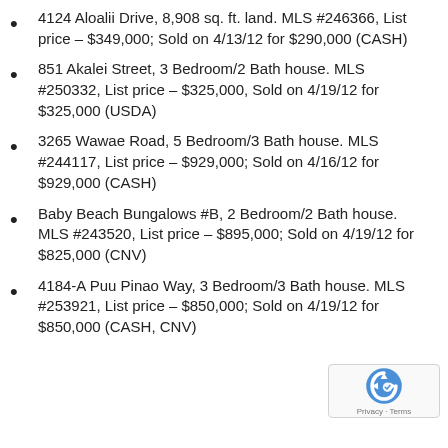4124 Aloalii Drive, 8,908 sq. ft. land. MLS #246366, List price – $349,000; Sold on 4/13/12 for $290,000 (CASH)
851 Akalei Street, 3 Bedroom/2 Bath house. MLS #250332, List price – $325,000, Sold on 4/19/12 for $325,000 (USDA)
3265 Wawae Road, 5 Bedroom/3 Bath house. MLS #244117, List price – $929,000; Sold on 4/16/12 for $929,000 (CASH)
Baby Beach Bungalows #B, 2 Bedroom/2 Bath house. MLS #243520, List price – $895,000; Sold on 4/19/12 for $825,000 (CNV)
4184-A Puu Pinao Way, 3 Bedroom/3 Bath house. MLS #253921, List price – $850,000; Sold on 4/19/12 for $850,000 (CASH, CNV)